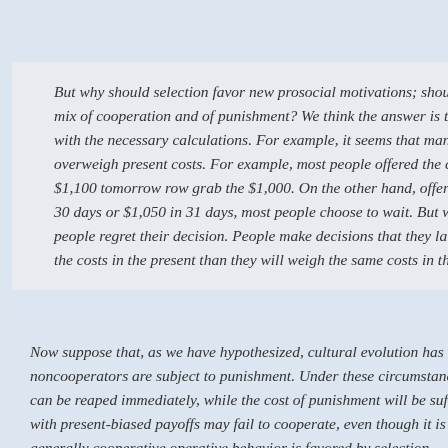But why should selection favor new prosocial mot… shouldn't they just calculate the best mix of cooper… of punishment? We think the answer is that people… to trust them with the necessary calculations. For… that many creatures, including humans, overweigh… For example, most people offered the choice betwe… tomorrow row grab the $1,000. On the other hand… 30 days or $1,050 in 31 days, most people choose… 30 days have passed, people regret their decision.… make decisions that they later regret, because they… present than they will weigh the same costs in the … 1993]
Now suppose that, as we have hypothesized, cultu… environment in which noncooperators are subject… circumstances the reward for noncooperation can… cost of punishment will be suffered later; and thus… payoffs may fail to cooperate, even though it is in… generally cooperative operative behavior is favore…